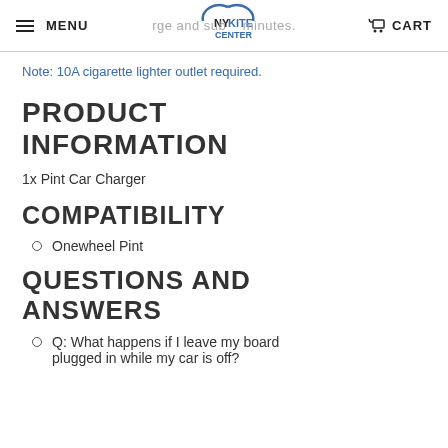MENU | NY KITE CENTER | CART
Note: 10A cigarette lighter outlet required.
PRODUCT INFORMATION
1x Pint Car Charger
COMPATIBILITY
Onewheel Pint
QUESTIONS AND ANSWERS
Q: What happens if I leave my board plugged in while my car is off?